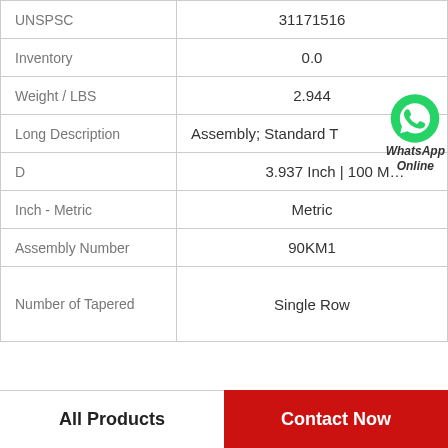| Field | Value |
| --- | --- |
| UNSPSC | 31171516 |
| Inventory | 0.0 |
| Weight / LBS | 2.944 |
| Long Description | Assembly; Standard T... |
| D | 3.937 Inch | 100 M... |
| Inch - Metric | Metric |
| Assembly Number | 90KM1 |
| Number of Tapered | Single Row |
All Products
Contact Now